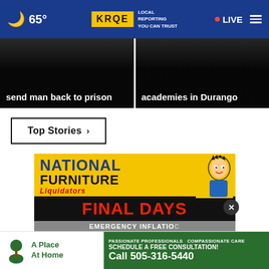65° KRQE LOCAL REPORTING YOU CAN TRUST • LIVE
send man back to prison
academies in Durango
Top Stories ›
[Figure (photo): National Furniture Liquidators advertisement - FINAL DAYS EMERGENCY INFLATION sale with cartoon character]
[Figure (photo): A Place At Home advertisement - PASSIONATE PROFESSIONALS COMPASSIONATE CARE SCHEDULE A FREE CONSULTATION! Call 505-316-5440]